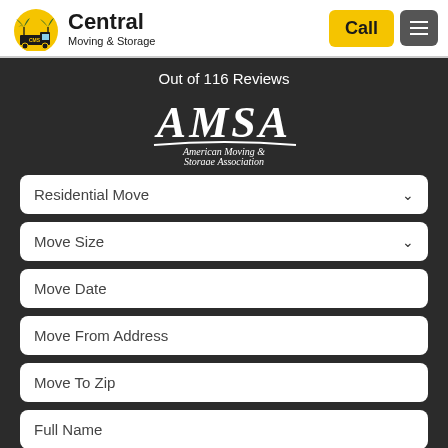[Figure (logo): Central Moving & Storage logo with palm tree and moving truck icon]
Central Moving & Storage
Call
Out of 116 Reviews
[Figure (logo): AMSA - American Moving & Storage Association logo in white italic text]
Residential Move
Move Size
Move Date
Move From Address
Move To Zip
Full Name